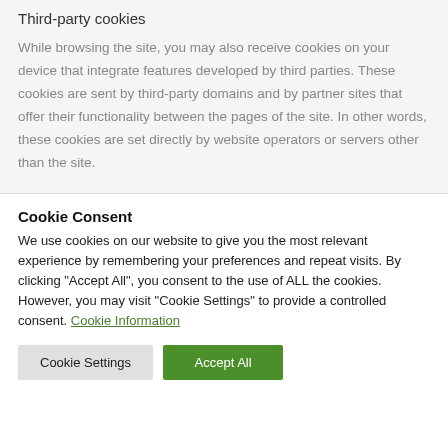Third-party cookies
While browsing the site, you may also receive cookies on your device that integrate features developed by third parties. These cookies are sent by third-party domains and by partner sites that offer their functionality between the pages of the site. In other words, these cookies are set directly by website operators or servers other than the site.
Cookie Consent
We use cookies on our website to give you the most relevant experience by remembering your preferences and repeat visits. By clicking "Accept All", you consent to the use of ALL the cookies. However, you may visit "Cookie Settings" to provide a controlled consent. Cookie Information